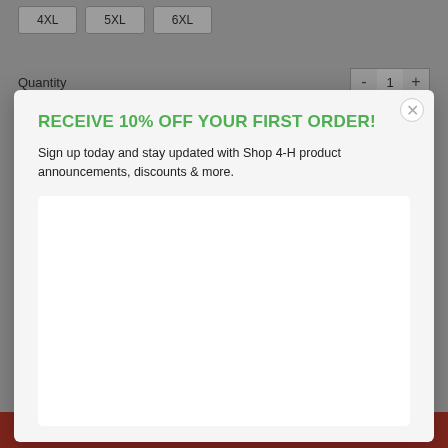[Figure (screenshot): Background e-commerce product page showing size buttons (4XL, 5XL, 6XL), a Quantity label with +/- stepper showing 1, dark overlay, and a red Add to cart bar at the bottom.]
RECEIVE 10% OFF YOUR FIRST ORDER!
Sign up today and stay updated with Shop 4-H product announcements, discounts & more.